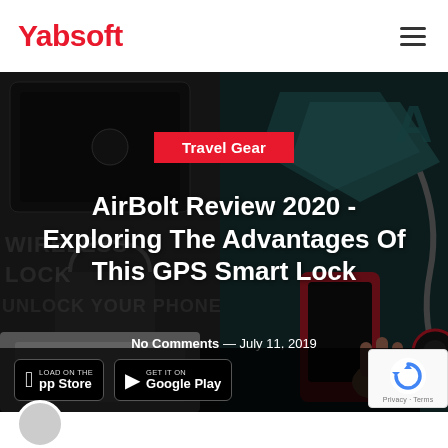Yabsoft
[Figure (photo): Hero collage image showing a wireless smart lock/GPS lock, a phone, and travel gear items, with dark overlay. Category badge 'Travel Gear' in red, article title overlaid in white bold text, meta info showing No Comments and date.]
AirBolt Review 2020 - Exploring The Advantages Of This GPS Smart Lock
No Comments — July 11, 2019
[Figure (logo): Apple App Store and Google Play store download badges at bottom left of hero image]
[Figure (other): reCAPTCHA widget box with Google reCAPTCHA logo and Privacy - Terms links]